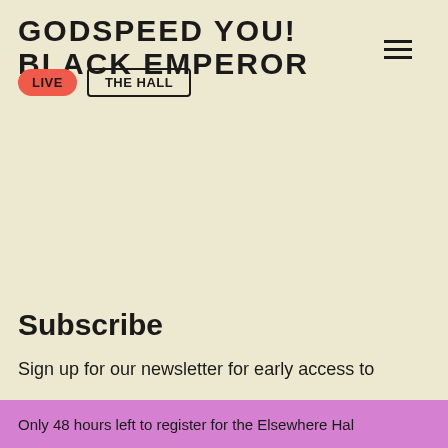GODSPEED YOU! BLACK EMPEROR
LIVE
THE HALL
Subscribe
Sign up for our newsletter for early access to
Only 48 hours left to register for the Elsewhere Hal